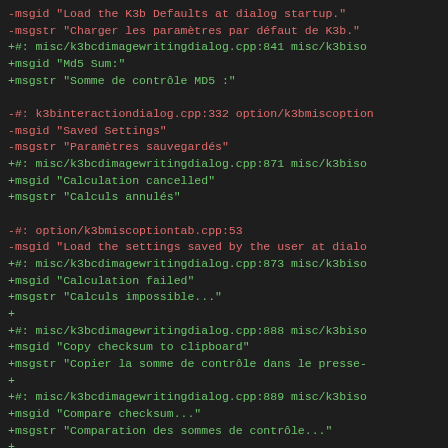diff/patch code content showing gettext localization file changes with red (removed) and green (added) lines